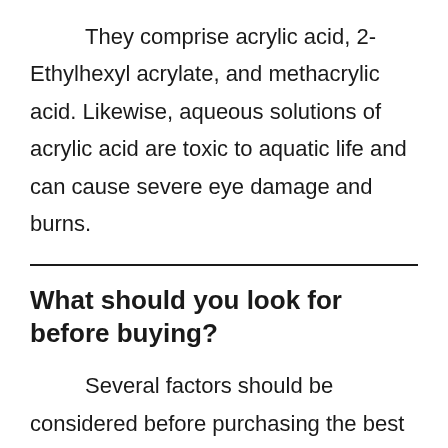They comprise acrylic acid, 2-Ethylhexyl acrylate, and methacrylic acid. Likewise, aqueous solutions of acrylic acid are toxic to aquatic life and can cause severe eye damage and burns.
What should you look for before buying?
Several factors should be considered before purchasing the best eco-friendly dishwasher detergent. For the right one to